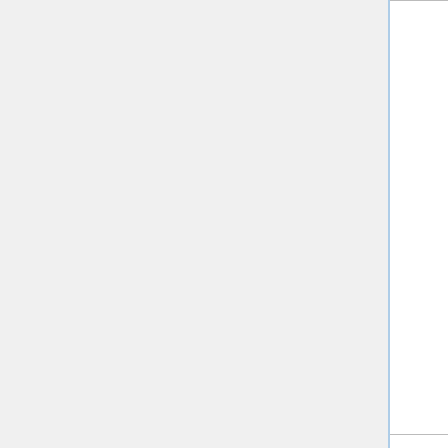|  |  |  |  | Data | Array of ...
Chunk...
Sec... |
|  |  |  |  | Biomes | Opt...
Byt...
Arr... |
Unload Chunk
Tells the client to unload a chunk.